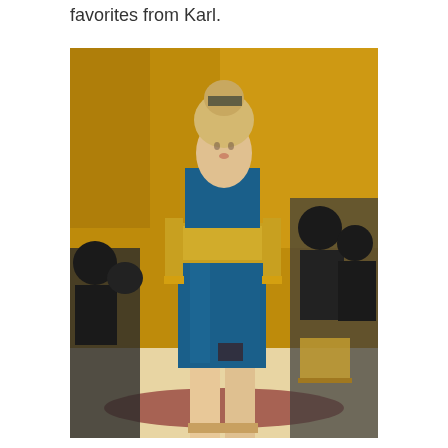favorites from Karl.
[Figure (photo): A fashion model walks the runway wearing a teal/blue satin dress with gold sequined bodice and sleeves, gold cuff bracelets, and a jeweled headpiece. The background shows a gold-colored wall and seated audience members.]